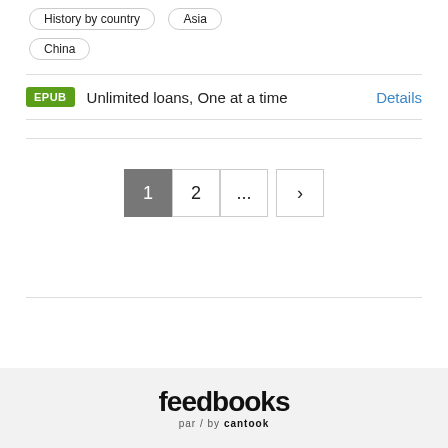History by country
Asia
China
EPUB  Unlimited loans, One at a time  Details
[Figure (screenshot): Pagination controls showing page 1 (active/dark), page 2, ellipsis, and a next arrow button]
[Figure (logo): Feedbooks par / by cantook logo on light grey background]